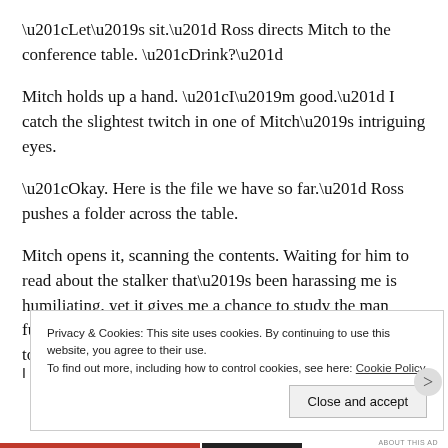“Let’s sit.” Ross directs Mitch to the conference table. “Drink?”
Mitch holds up a hand. “I’m good.” I catch the slightest twitch in one of Mitch’s intriguing eyes.
“Okay. Here is the file we have so far.” Ross pushes a folder across the table.
Mitch opens it, scanning the contents. Waiting for him to read about the stalker that’s been harassing me is humiliating, yet it gives me a chance to study the man further. I should resist staring, but I can’t. He’s too gorgeous to ignore.
Privacy & Cookies: This site uses cookies. By continuing to use this website, you agree to their use.
To find out more, including how to control cookies, see here: Cookie Policy
Close and accept